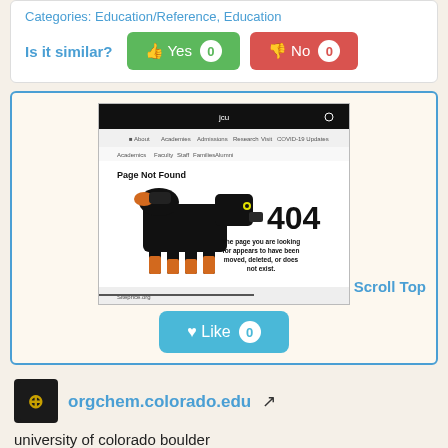Categories: Education/Reference, Education
Is it similar? Yes 0  No 0
[Figure (screenshot): Screenshot of orgchem.colorado.edu showing a 404 Page Not Found error with a robot buffalo mascot image and text: '404 The page you are looking for appears to have been moved, deleted, or does not exist.' Siteprice.org watermark visible.]
Scroll Top
Like 0
orgchem.colorado.edu
university of colorado boulder organic chemistry at cu boulder